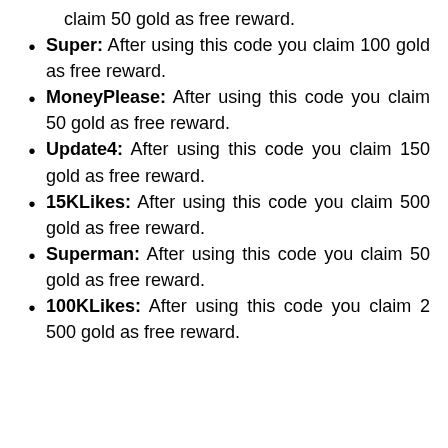claim 50 gold as free reward.
Super: After using this code you claim 100 gold as free reward.
MoneyPlease: After using this code you claim 50 gold as free reward.
Update4: After using this code you claim 150 gold as free reward.
15KLikes: After using this code you claim 500 gold as free reward.
Superman: After using this code you claim 50 gold as free reward.
100KLikes: After using this code you claim 2 500 gold as free reward.